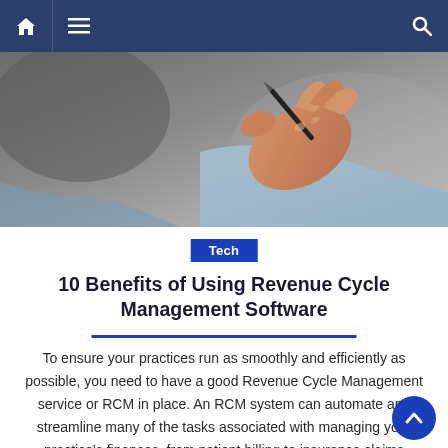Navigation bar with home, menu, and search icons
[Figure (photo): Close-up photo of a hand holding a pen, person wearing a light blue shirt, blurred background]
Tech
10 Benefits of Using Revenue Cycle Management Software
To ensure your practices run as smoothly and efficiently as possible, you need to have a good Revenue Cycle Management service or RCM in place. An RCM system can automate and streamline many of the tasks associated with managing your practice's finances, from patient billing to insurance claims processing. If you're not already using an [...]